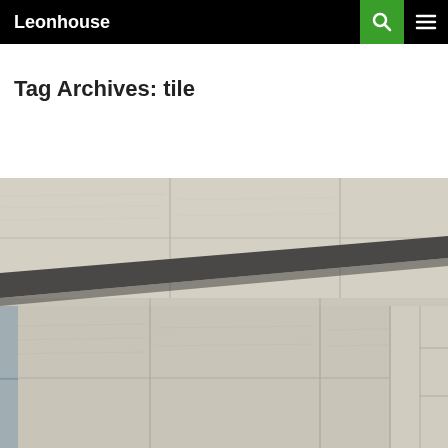Leonhouse
Tag Archives: tile
[Figure (photo): Close-up photograph of light gray large-format tiles on a wall and countertop surface, with a dark gray stone or tile ledge/transition strip running diagonally across the image. The tiles have subtle wood-grain texture in a soft beige-gray tone.]